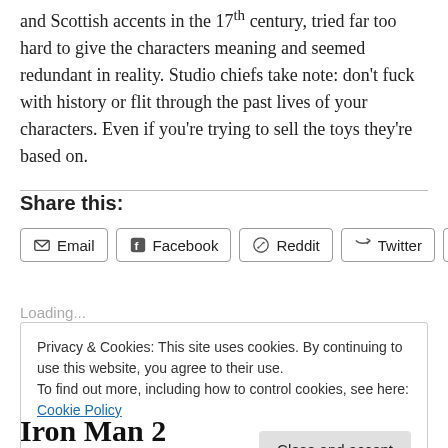and Scottish accents in the 17th century, tried far too hard to give the characters meaning and seemed redundant in reality. Studio chiefs take note: don’t fuck with history or flit through the past lives of your characters. Even if you’re trying to sell the toys they’re based on.
Share this:
Email  Facebook  Reddit  Twitter  Print
Loading...
Privacy & Cookies: This site uses cookies. By continuing to use this website, you agree to their use.
To find out more, including how to control cookies, see here: Cookie Policy
Close and accept
Iron Man 2